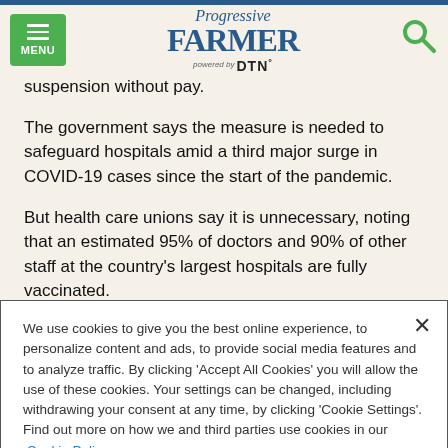Progressive Farmer powered by DTN
suspension without pay.
The government says the measure is needed to safeguard hospitals amid a third major surge in COVID-19 cases since the start of the pandemic.
But health care unions say it is unnecessary, noting that an estimated 95% of doctors and 90% of other staff at the country's largest hospitals are fully vaccinated.
We use cookies to give you the best online experience, to personalize content and ads, to provide social media features and to analyze traffic. By clicking 'Accept All Cookies' you will allow the use of these cookies. Your settings can be changed, including withdrawing your consent at any time, by clicking 'Cookie Settings'. Find out more on how we and third parties use cookies in our Cookie Policy